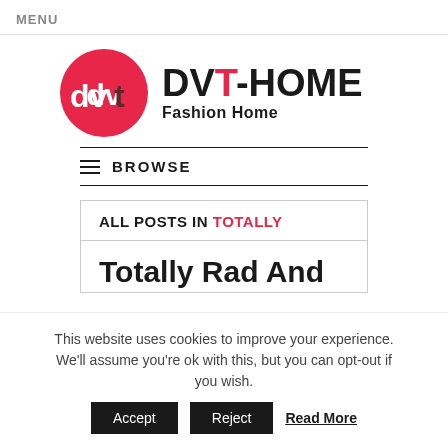MENU
[Figure (logo): DVT-HOME Fashion Home logo: pink circle with 'dvt' text, beside bold text 'DVT-HOME' and subtitle 'Fashion Home']
BROWSE
ALL POSTS IN TOTALLY
Totally Rad And
This website uses cookies to improve your experience. We'll assume you're ok with this, but you can opt-out if you wish.
Accept | Reject | Read More